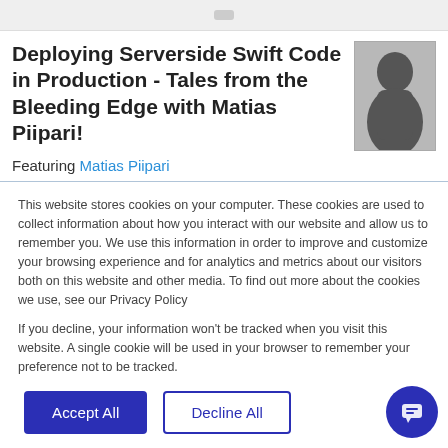[Figure (screenshot): Top navigation bar area, partially visible]
Deploying Serverside Swift Code in Production - Tales from the Bleeding Edge with Matias Piipari!
[Figure (photo): Black and white photo of Matias Piipari]
Featuring Matias Piipari
This website stores cookies on your computer. These cookies are used to collect information about how you interact with our website and allow us to remember you. We use this information in order to improve and customize your browsing experience and for analytics and metrics about our visitors both on this website and other media. To find out more about the cookies we use, see our Privacy Policy
If you decline, your information won't be tracked when you visit this website. A single cookie will be used in your browser to remember your preference not to be tracked.